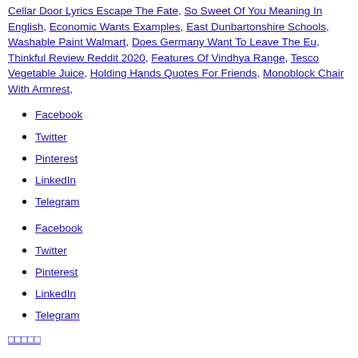Cellar Door Lyrics Escape The Fate, So Sweet Of You Meaning In English, Economic Wants Examples, East Dunbartonshire Schools, Washable Paint Walmart, Does Germany Want To Leave The Eu, Thinkful Review Reddit 2020, Features Of Vindhya Range, Tesco Vegetable Juice, Holding Hands Quotes For Friends, Monoblock Chair With Armrest,
Facebook
Twitter
Pinterest
LinkedIn
Telegram
Facebook
Twitter
Pinterest
LinkedIn
Telegram
□□□□□